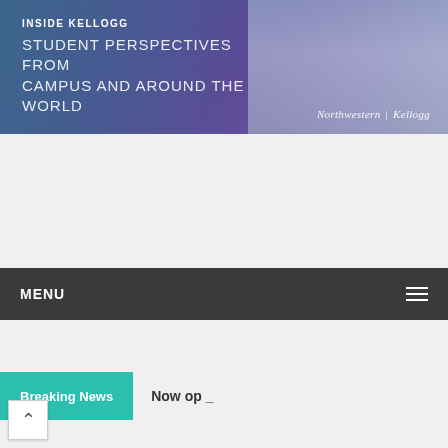[Figure (screenshot): Inside Kellogg header banner with purple/blue gradient background and city skyline photo on right. Text reads INSIDE KELLOGG and STUDENT PERSPECTIVES FROM CAMPUS AND AROUND THE WORLD. Northwestern | Kellogg logo at bottom right.]
MENU
Breaking News   Now op _
Home > kellogg
[Figure (photo): Northwestern University arch gate with trees visible through it. Purple banner at bottom reads: N  Congratulations, Class of 2019!]